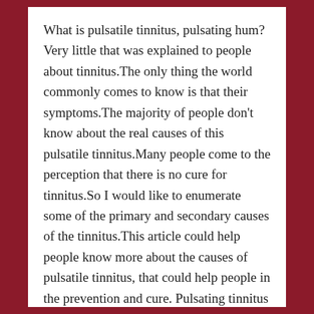What is pulsatile tinnitus, pulsating hum?Very little that was explained to people about tinnitus.The only thing the world commonly comes to know is that their symptoms.The majority of people don't know about the real causes of this pulsatile tinnitus.Many people come to the perception that there is no cure for tinnitus.So I would like to enumerate some of the primary and secondary causes of the tinnitus.This article could help people know more about the causes of pulsatile tinnitus, that could help people in the prevention and cure. Pulsating tinnitus is a buzzing sound that only the impression of hearing in the absence of actual noise around.In simple, the sounds of his own pulse, heartbeat of the heart or blood flow which makes the sound of ringing in the ears.Tinnitus can be objective tinnitus or subjective tinnitus.The zoom lens is which